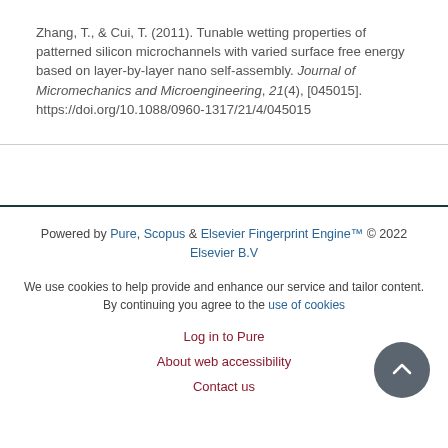Zhang, T., & Cui, T. (2011). Tunable wetting properties of patterned silicon microchannels with varied surface free energy based on layer-by-layer nano self-assembly. Journal of Micromechanics and Microengineering, 21(4), [045015]. https://doi.org/10.1088/0960-1317/21/4/045015
Powered by Pure, Scopus & Elsevier Fingerprint Engine™ © 2022 Elsevier B.V
We use cookies to help provide and enhance our service and tailor content. By continuing you agree to the use of cookies
Log in to Pure
About web accessibility
Contact us